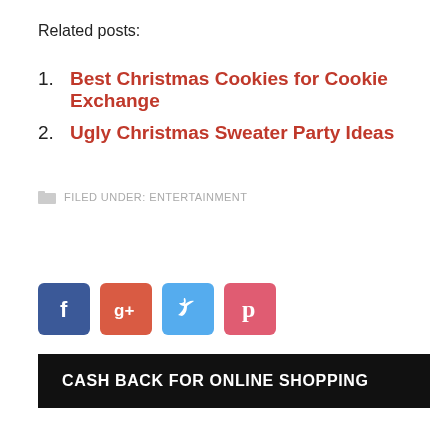Related posts:
Best Christmas Cookies for Cookie Exchange
Ugly Christmas Sweater Party Ideas
FILED UNDER: ENTERTAINMENT
[Figure (other): Social media sharing icons: Facebook, Google+, Twitter, Pinterest]
CASH BACK FOR ONLINE SHOPPING